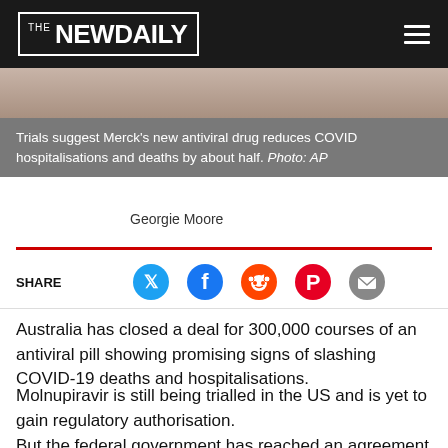[Figure (logo): The New Daily newspaper logo on dark background with hamburger menu icon]
[Figure (photo): Partial view of pills/tablets, background image for article]
Trials suggest Merck's new antiviral drug reduces COVID hospitalisations and deaths by about half. Photo: AP
Georgie Moore
SHARE
Australia has closed a deal for 300,000 courses of an antiviral pill showing promising signs of slashing COVID-19 deaths and hospitalisations.
Molnupiravir is still being trialled in the US and is yet to gain regulatory authorisation.
But the federal government has reached an agreement with